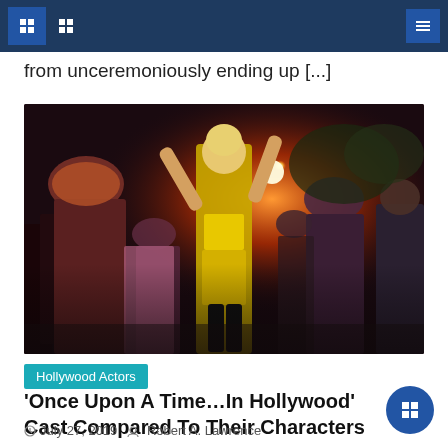from unceremoniously ending up [...]
[Figure (photo): A woman in a yellow outfit dancing at an outdoor party at night, with red stage lights and a crowd of people around her. Scene from 'Once Upon A Time...In Hollywood'.]
Hollywood Actors
'Once Upon A Time…In Hollywood' Cast Compared To Their Characters
July 27, 2019   Robert A. Lawrence